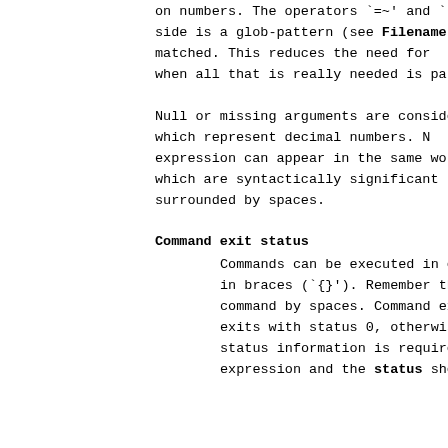on numbers.  The operators `=~' and `!-
side is a glob-pattern (see Filename su
matched.  This  reduces  the  need for
when all that is really needed is patte
Null or missing arguments are considere
which  represent  decimal  numbers.  N
expression can appear in the same word;
which are syntactically significant to
surrounded by spaces.
Command exit status
Commands can be executed in expressions
in  braces  (`{}').   Remember  that  t
command by spaces.  Command executions
exits  with  status  0,  otherwise they
status information is  required  then
expression and the status shell variabl